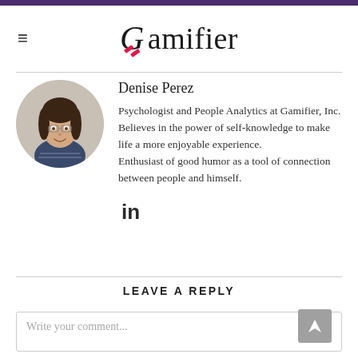Gamifier
Denise Perez
Psychologist and People Analytics at Gamifier, Inc. Believes in the power of self-knowledge to make life a more enjoyable experience. Enthusiast of good humor as a tool of connection between people and himself.
[Figure (other): LinkedIn icon]
LEAVE A REPLY
Write your comment...